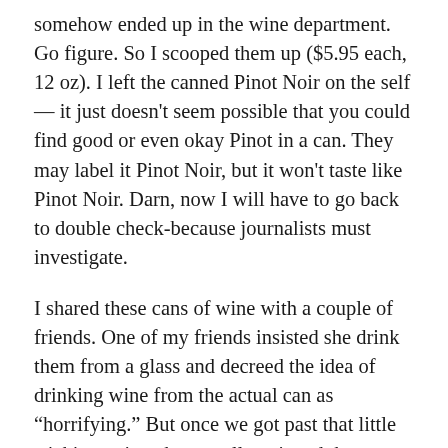somehow ended up in the wine department. Go figure. So I scooped them up ($5.95 each, 12 oz). I left the canned Pinot Noir on the self — it just doesn't seem possible that you could find good or even okay Pinot in a can. They may label it Pinot Noir, but it won't taste like Pinot Noir. Darn, now I will have to go back to double check-because journalists must investigate.
I shared these cans of wine with a couple of friends. One of my friends insisted she drink them from a glass and decreed the idea of drinking wine from the actual can as “horrifying.” But once we got past that little sticking point–she actually enjoyed them.
These wines come from the Union Wine Co. and the grapes are sourced from somewhere in Oregon.